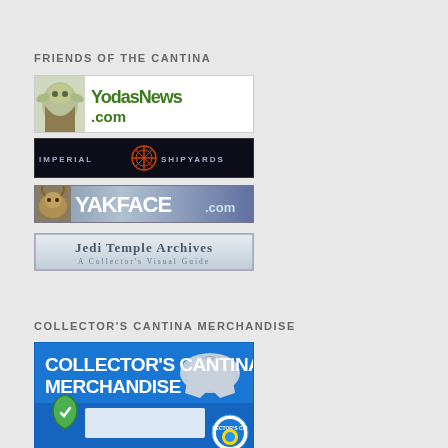FRIENDS OF THE CANTINA
[Figure (logo): YodasNews.com logo banner with Yoda graphic and green text on white background]
[Figure (logo): Imperial Shipyards dark banner with orange/red emblem and white text on dark background]
[Figure (logo): YAKFACE.com banner with blue/grey background and bold white text]
[Figure (logo): Jedi Temple Archives banner - A Collector's Visual Guide, grey/silver design]
COLLECTOR'S CANTINA MERCHANDISE
[Figure (logo): Collector's Cantina Merchandise blue banner with white bold text and merchandise imagery]